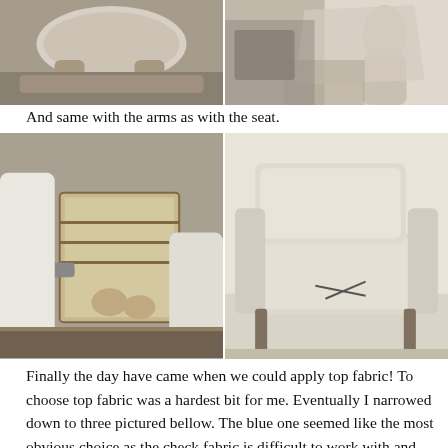[Figure (photo): Two black and white photos side by side showing upholstery work on a chair back/cushion area with scissors and fabric visible]
And same with the arms as with the seat.
[Figure (photo): Two black and white photos side by side showing upholstery work on chair arms, one showing the wooden frame from behind and one showing the padded chair from the front with scissors on the seat]
Finally the day have came when we could apply top fabric! To choose top fabric was a hardest bit for me. Eventually I narrowed down to three pictured bellow. The blue one seemed like the most obvious choice as the check fabric is difficult to work with and the dark green fabric reminded me